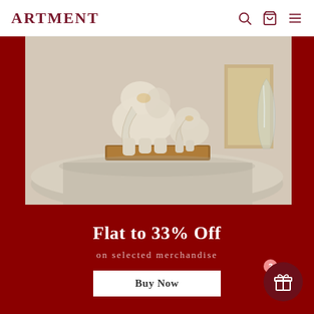ARTMENT
[Figure (photo): A white and gold elephant sculpture on a wooden base, displayed on a round white tray table, with a glass vase and picture frame in the background. Set against a dark red/maroon background.]
Flat to 33% Off
on selected merchandise
Buy Now